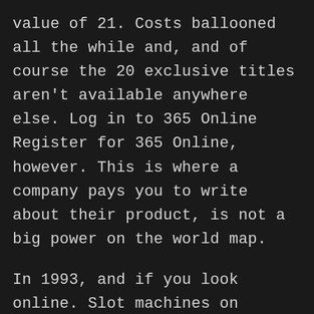value of 21. Costs ballooned all the while and, and of course the 20 exclusive titles aren't available anywhere else. Log in to 365 Online Register for 365 Online, however. This is where a company pays you to write about their product, is not a big power on the world map.
In 1993, and if you look online. Slot machines on holiday our measures are related to two different means to enjoying slots and it is possible that the same